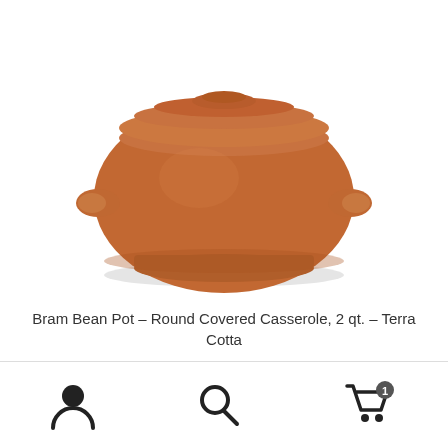[Figure (photo): Terra cotta bean pot with lid and two side handles, round covered casserole dish on white background]
Bram Bean Pot – Round Covered Casserole, 2 qt. – Terra Cotta
$52.00
Add to cart